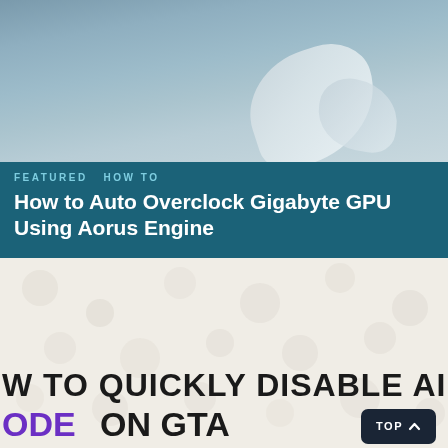[Figure (photo): Blurred gray/blue background image, possibly showing a hand or hardware component with a white curved element visible at upper right]
FEATURED  HOW TO
How to Auto Overclock Gigabyte GPU Using Aorus Engine
[Figure (screenshot): Partially visible screenshot or image showing text 'W TO QUICKLY DISABLE AIRB' on upper text line and 'ODE  ON  GTA' on lower line (partially cut off on right), with a light patterned background and 'TOP ^' button in bottom-right corner]